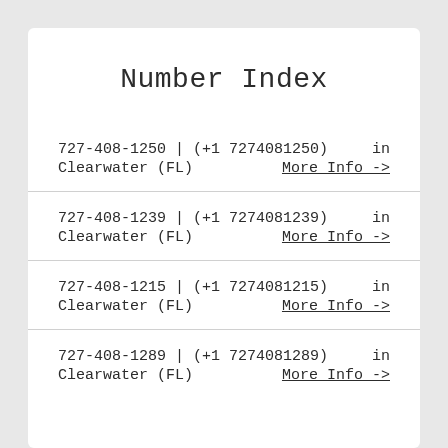Number Index
727-408-1250 | (+1 7274081250)  in Clearwater (FL)    More Info ->
727-408-1239 | (+1 7274081239)  in Clearwater (FL)    More Info ->
727-408-1215 | (+1 7274081215)  in Clearwater (FL)    More Info ->
727-408-1289 | (+1 7274081289)  in Clearwater (FL)    More Info ->